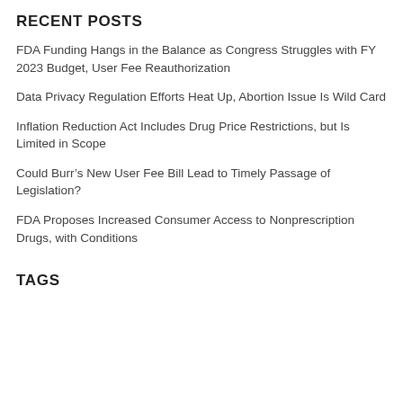RECENT POSTS
FDA Funding Hangs in the Balance as Congress Struggles with FY 2023 Budget, User Fee Reauthorization
Data Privacy Regulation Efforts Heat Up, Abortion Issue Is Wild Card
Inflation Reduction Act Includes Drug Price Restrictions, but Is Limited in Scope
Could Burr’s New User Fee Bill Lead to Timely Passage of Legislation?
FDA Proposes Increased Consumer Access to Nonprescription Drugs, with Conditions
TAGS